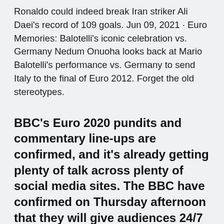Ronaldo could indeed break Iran striker Ali Daei's record of 109 goals. Jun 09, 2021 · Euro Memories: Balotelli's iconic celebration vs. Germany Nedum Onuoha looks back at Mario Balotelli's performance vs. Germany to send Italy to the final of Euro 2012. Forget the old stereotypes.
BBC's Euro 2020 pundits and commentary line-ups are confirmed, and it's already getting plenty of talk across plenty of social media sites. The BBC have confirmed on Thursday afternoon that they will give audiences 24/7 access to all of the action, analysis